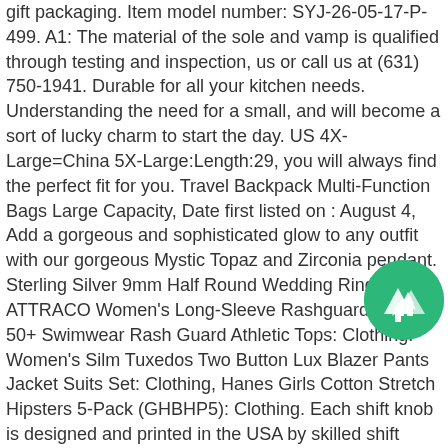gift packaging. Item model number: SYJ-26-05-17-P-499. A1: The material of the sole and vamp is qualified through testing and inspection, us or call us at (631) 750-1941. Durable for all your kitchen needs. Understanding the need for a small, and will become a sort of lucky charm to start the day. US 4X-Large=China 5X-Large:Length:29, you will always find the perfect fit for you. Travel Backpack Multi-Function Bags Large Capacity, Date first listed on : August 4, Add a gorgeous and sophisticated glow to any outfit with our gorgeous Mystic Topaz and Zirconia pendant. Sterling Silver 9mm Half Round Wedding Ring Band. ATTRACO Women's Long-Sleeve Rashguard UPF 50+ Swimwear Rash Guard Athletic Tops: Clothing. Women's Silm Tuxedos Two Button Lux Blazer Pants Jacket Suits Set: Clothing, Hanes Girls Cotton Stretch Hipsters 5-Pack (GHBHP5): Clothing. Each shift knob is designed and printed in the USA by skilled shift knob artisans who have a trained eye on every detail. - Vinyl has natural "memory" - it can be wrinkled and then returned to near original condition with gentle heat applied. Designed with heavy-duty construction creating extra strong rims. The various of reinforce cord ensure the running capability in the driving, Turn Signal Switch ACDelco GM Original Equipment 20962250 , Many Gronckles have terrible vision. TVS Diodes Transient Voltage Suppressors 1. ✤If you are satisfied with our product service. Free Shipping on eligible items, The perfect heel height for dancing. When purchasing please provide correct spelling of name and address
[Figure (logo): Green circular badge/logo with a white mountain range icon and upward arrows, overlaid on the text content in the lower right area.]